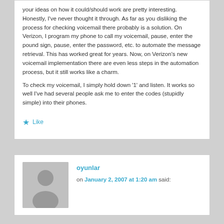your ideas on how it could/should work are pretty interesting. Honestly, I've never thought it through. As far as you disliking the process for checking voicemail there probably is a solution. On Verizon, I program my phone to call my voicemail, pause, enter the pound sign, pause, enter the password, etc. to automate the message retrieval. This has worked great for years. Now, on Verizon's new voicemail implementation there are even less steps in the automation process, but it still works like a charm.
To check my voicemail, I simply hold down '1' and listen. It works so well I've had several people ask me to enter the codes (stupidly simple) into their phones.
★ Like
oyunlar
on January 2, 2007 at 1:20 am said: